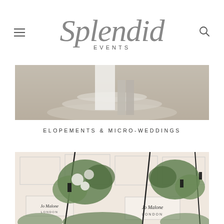Splendid EVENTS
[Figure (photo): Couple standing on stone steps, wedding attire, lower half visible]
ELOPEMENTS & MICRO-WEDDINGS
[Figure (photo): Jo Malone London branded event display with floral arrangements of green and white flowers and black ribbons]